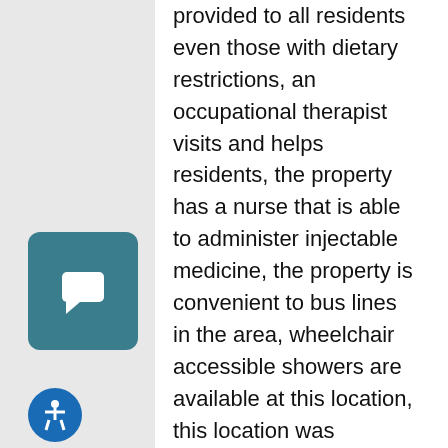provided to all residents even those with dietary restrictions, an occupational therapist visits and helps residents, the property has a nurse that is able to administer injectable medicine, the property is convenient to bus lines in the area, wheelchair accessible showers are available at this location, this location was renovated in 2012, and the community is licensed for 299 residents.
Meridian of Cheviot Hills
3340 Shelby Drive
Los Angeles, CA 90034